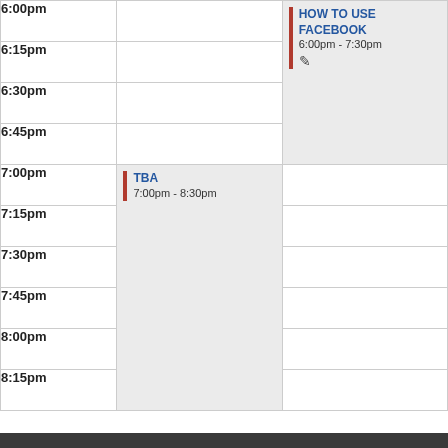| Time | Column 2 | Column 3 |
| --- | --- | --- |
| 6:00pm |  | HOW TO USE FACEBOOK
6:00pm - 7:30pm |
| 6:15pm |  |  |
| 6:30pm |  |  |
| 6:45pm |  |  |
| 7:00pm | TBA
7:00pm - 8:30pm |  |
| 7:15pm |  |  |
| 7:30pm |  |  |
| 7:45pm |  |  |
| 8:00pm |  |  |
| 8:15pm |  |  |
About Us
Hours & Locations